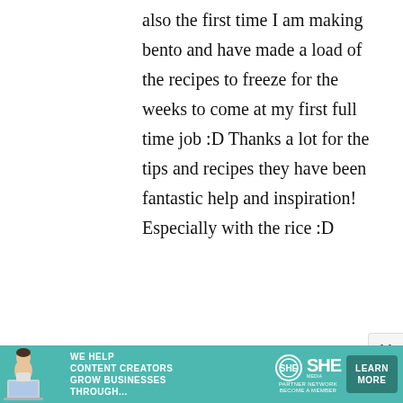also the first time I am making bento and have made a load of the recipes to freeze for the weeks to come at my first full time job :D Thanks a lot for the tips and recipes they have been fantastic help and inspiration! Especially with the rice :D
[Figure (screenshot): Advertisement banner for SHE Media Partner Network with teal background, person photo, headline 'We help content creators grow businesses through...', SHE logo, and Learn More button]